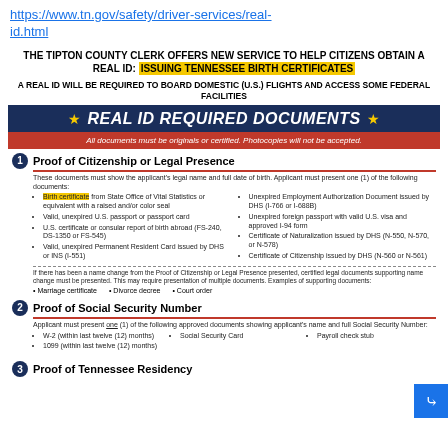https://www.tn.gov/safety/driver-services/real-id.html
THE TIPTON COUNTY CLERK OFFERS NEW SERVICE TO HELP CITIZENS OBTAIN A REAL ID: ISSUING TENNESSEE BIRTH CERTIFICATES
A REAL ID WILL BE REQUIRED TO BOARD DOMESTIC (U.S.) FLIGHTS AND ACCESS SOME FEDERAL FACILITIES
[Figure (infographic): Dark navy blue banner with gold stars reading REAL ID REQUIRED DOCUMENTS in white italic bold text, followed by a red bar stating: All documents must be originals or certified. Photocopies will not be accepted.]
1 Proof of Citizenship or Legal Presence
These documents must show the applicant's legal name and full date of birth. Applicant must present one (1) of the following documents:
Birth certificate from State Office of Vital Statistics or equivalent with a raised and/or color seal
Valid, unexpired U.S. passport or passport card
U.S. certificate or consular report of birth abroad (FS-240, DS-1350 or FS-545)
Valid, unexpired Permanent Resident Card issued by DHS or INS (I-551)
Unexpired Employment Authorization Document issued by DHS (I-766 or I-688B)
Unexpired foreign passport with valid U.S. visa and approved I-94 form
Certificate of Naturalization issued by DHS (N-550, N-570, or N-578)
Certificate of Citizenship issued by DHS (N-560 or N-561)
If there has been a name change from the Proof of Citizenship or Legal Presence presented, certified legal documents supporting name change must be presented. This may require presentation of multiple documents. Examples of supporting documents:
Marriage certificate
Divorce decree
Court order
2 Proof of Social Security Number
Applicant must present one (1) of the following approved documents showing applicant's name and full Social Security Number:
W-2 (within last twelve (12) months)
Social Security Card
Payroll check stub
1099 (within last twelve (12) months)
3 Proof of Tennessee Residency